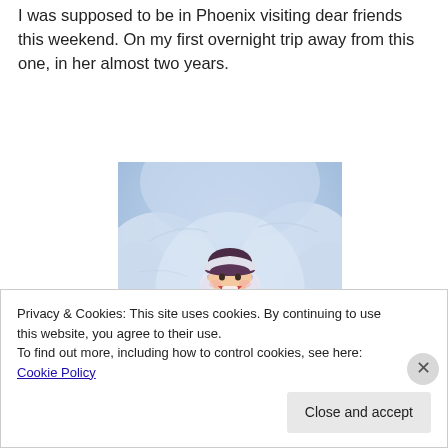I was supposed to be in Phoenix visiting dear friends this weekend. On my first overnight trip away from this one, in her almost two years.
[Figure (photo): A young toddler wearing a dark burgundy knit hat, white mittens, and a lavender/purple snowsuit, lying in the snow and smiling/laughing with mouth open. The snow surrounds the child in a soft blue-white setting.]
Privacy & Cookies: This site uses cookies. By continuing to use this website, you agree to their use.
To find out more, including how to control cookies, see here: Cookie Policy